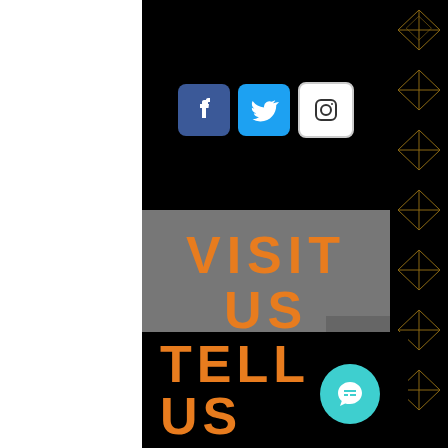[Figure (infographic): Social media icons: Facebook (blue), Twitter (light blue), Instagram (white/outlined)]
VISIT US
TUESDAY · SPILSBY
WEDNESDAY- HORNCASTLE
THURSDAY-BOSTON
THURSDAY · SKEGNESS
TELL US